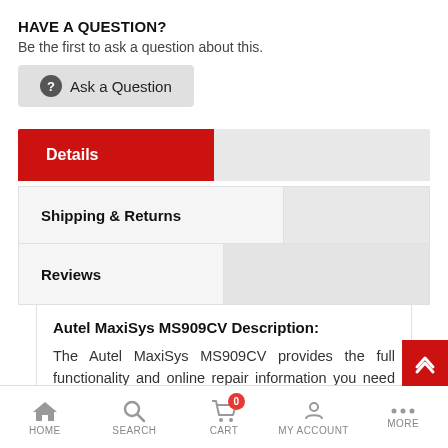HAVE A QUESTION?
Be the first to ask a question about this.
Ask a Question
Details
Shipping & Returns
Reviews
Autel MaxiSys MS909CV Description:
The Autel MaxiSys MS909CV provides the full functionality and online repair information you need when diagnosing